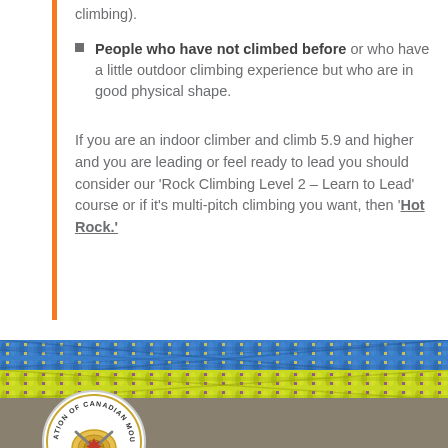climbing).
People who have not climbed before or who have a little outdoor climbing experience but who are in good physical shape.
If you are an indoor climber and climb 5.9 and higher and you are leading or feel ready to lead you should consider our 'Rock Climbing Level 2 – Learn to Lead' course or if it's multi-pitch climbing you want, then 'Hot Rock.'
[Figure (photo): Climbing ropes (blue braided and yellow-green braided) shown horizontally, with partial Association of Canadian Mountain Guides logo circle visible at bottom]